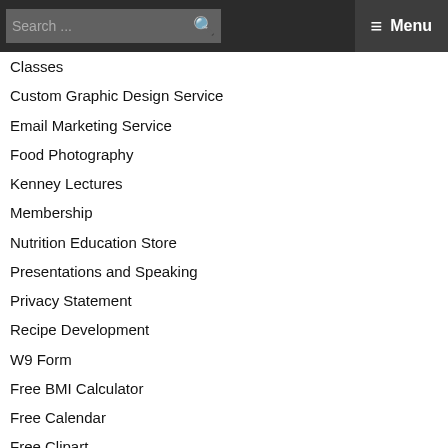Search ... ≡ Menu
Classes
Custom Graphic Design Service
Email Marketing Service
Food Photography
Kenney Lectures
Membership
Nutrition Education Store
Presentations and Speaking
Privacy Statement
Recipe Development
W9 Form
Free BMI Calculator
Free Calendar
Free Clipart
Free Email Newsletter
Free Handouts
Free MyPlate Workbook
Free Nutrition Education Resources
Free Recipes